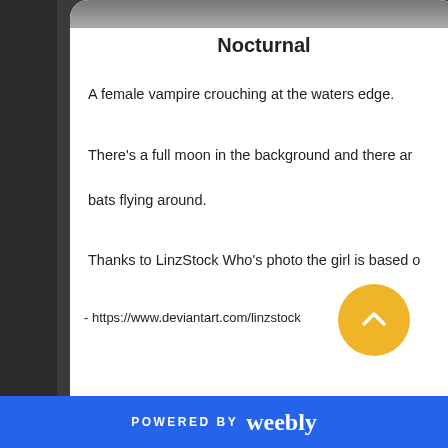[Figure (photo): Cropped top of a pencil drawing showing a female vampire near water, visible at top of first card]
Nocturnal
A female vampire crouching at the waters edge.
There's a full moon in the background and there are bats flying around.
Thanks to LinzStock Who's photo the girl is based on
- https://www.deviantart.com/linzstock
[Figure (illustration): Pencil portrait illustration of a person with long hair in a circular frame, inside a dark card. Watermark text: Artwork by Dean Sidra / www.deansidra.com]
POWERED BY weebly